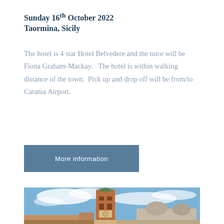Sunday 16th October 2022
Taormina, Sicily
The hotel is 4 star Hotel Belvedere and the tutor will be Fiona Graham-Mackay.   The hotel is within walking distance of the town.  Pick up and drop off will be from/to Catania Airport.
More information
[Figure (photo): Photograph of a tall brick bell tower with a green spire (Campanile di San Marco, Venice) against a partly cloudy blue sky, with a domed building visible to the right.]